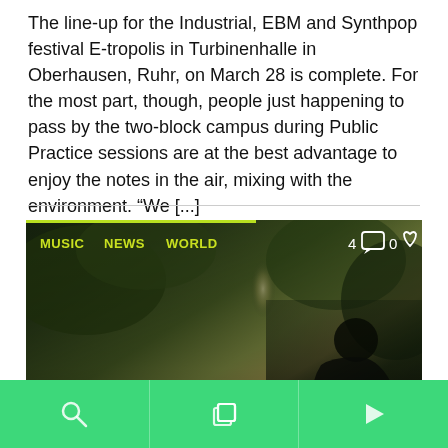The line-up for the Industrial, EBM and Synthpop festival E-tropolis in Turbinenhalle in Oberhausen, Ruhr, on March 28 is complete. For the most part, though, people just happening to pass by the two-block campus during Public Practice sessions are at the best advantage to enjoy the notes in the air, mixing with the environment. “We [...]
[Figure (screenshot): News card image with dark nature/forest background showing a person sitting on a log near a waterfall. Green category tags MUSIC, NEWS, WORLD at top left. Comment icon showing 4 and heart icon showing 0 at top right. Title overlay reads RADIO USA DETAILS 8,000 VINYL RECORDS.]
Navigation bar with search, layers, and play icons